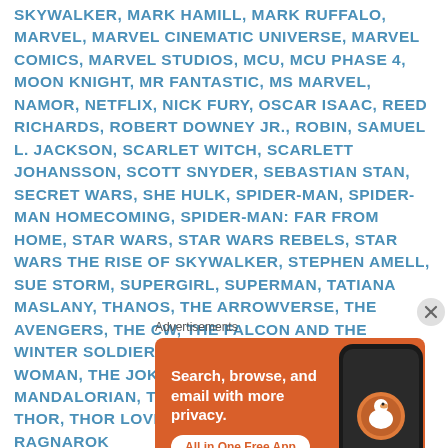SKYWALKER, MARK HAMILL, MARK RUFFALO, MARVEL, MARVEL CINEMATIC UNIVERSE, MARVEL COMICS, MARVEL STUDIOS, MCU, MCU PHASE 4, MOON KNIGHT, MR FANTASTIC, MS MARVEL, NAMOR, NETFLIX, NICK FURY, OSCAR ISAAC, REED RICHARDS, ROBERT DOWNEY JR., ROBIN, SAMUEL L. JACKSON, SCARLET WITCH, SCARLETT JOHANSSON, SCOTT SNYDER, SEBASTIAN STAN, SECRET WARS, SHE HULK, SPIDER-MAN, SPIDER-MAN HOMECOMING, SPIDER-MAN: FAR FROM HOME, STAR WARS, STAR WARS REBELS, STAR WARS THE RISE OF SKYWALKER, STEPHEN AMELL, SUE STORM, SUPERGIRL, SUPERMAN, TATIANA MASLANY, THANOS, THE ARROWVERSE, THE AVENGERS, THE CW, THE FALCON AND THE WINTER SOLDIER, THE FLASH, THE INVISIBLE WOMAN, THE JOKER, THE KANG DYNASTY, THE MANDALORIAN, THE THING, THE WORLDS OF DC, THOR, THOR LOVE AND THUNDER, THOR RAGNAROK
Advertisements
[Figure (photo): DuckDuckGo advertisement banner with orange background. Text reads: 'Search, browse, and email with more privacy. All in One Free App'. Shows a smartphone and DuckDuckGo logo.]